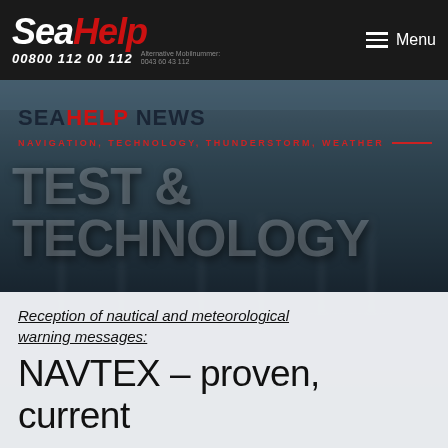SeaHelp 00800 112 00 112 Alternative Mobilnummer: 0043 60 43 112 Menu
[Figure (screenshot): Hero background image of a marina/harbor with boats, blurred, overlaid with dark semi-transparent filter]
SEAHELP NEWS
NAVIGATION, TECHNOLOGY, THUNDERSTORM, WEATHER
TEST & TECHNOLOGY
Reception of nautical and meteorological warning messages:
NAVTEX – proven, current helpful